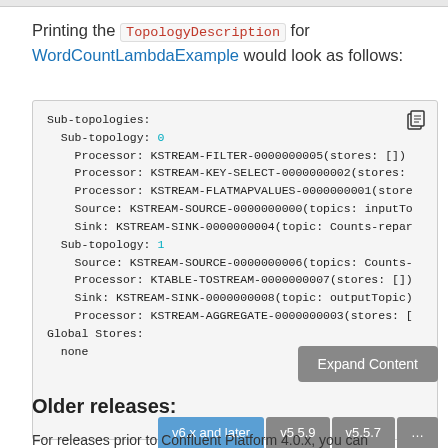Printing the TopologyDescription for WordCountLambdaExample would look as follows:
[Figure (screenshot): Code block showing topology description output with Sub-topologies, Processors, Sources, Sinks and Global Stores]
Older releases:
For releases prior to Confluent Platform 4.0.x, you can